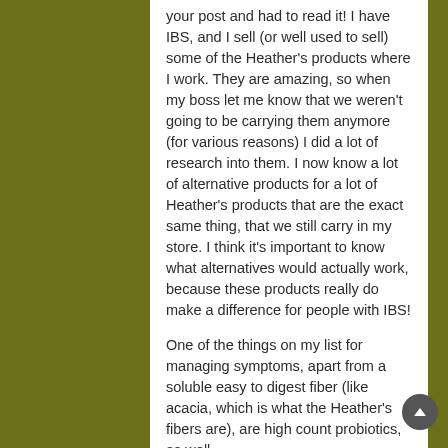your post and had to read it! I have IBS, and I sell (or well used to sell) some of the Heather's products where I work. They are amazing, so when my boss let me know that we weren't going to be carrying them anymore (for various reasons) I did a lot of research into them. I now know a lot of alternative products for a lot of Heather's products that are the exact same thing, that we still carry in my store. I think it's important to know what alternatives would actually work, because these products really do make a difference for people with IBS!
One of the things on my list for managing symptoms, apart from a soluble easy to digest fiber (like acacia, which is what the Heather's fibers are), are high count probiotics, as well.
But, I wasn't aware that they even had teas, or that they might work so well. It might be a good recommendation for people coming into the store asking for help. I'll have to check it out. Thank you for the post!